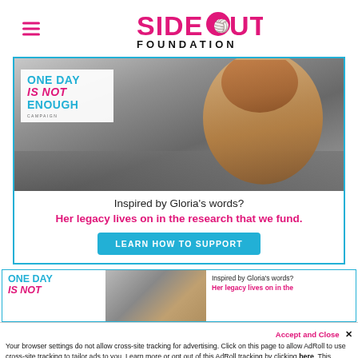[Figure (logo): Side Out Foundation logo with hamburger menu icon]
[Figure (photo): Main ad banner showing woman photo in black and white with 'One Day Is Not Enough' campaign overlay text, and call to action text below reading 'Inspired by Gloria's words? Her legacy lives on in the research that we fund.' with a Learn How to Support button]
[Figure (photo): Second smaller ad banner with same campaign imagery at reduced size, showing 'One Day Is Not Enough' text, woman photo, and 'Inspired by Gloria's words? Her legacy lives on in the' text]
Accept and Close ✕
Your browser settings do not allow cross-site tracking for advertising. Click on this page to allow AdRoll to use cross-site tracking to tailor ads to you. Learn more or opt out of this AdRoll tracking by clicking here. This message only appears once.